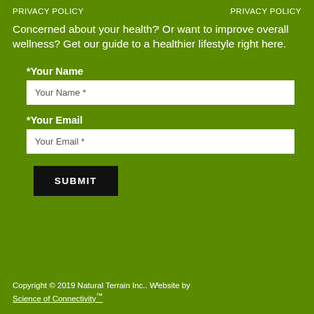PRIVACY POLICY    PRIVACY POLICY
Concerned about your health? Or want to improve overall wellness? Get our guide to a healthier lifestyle right here.
*Your Name
Your Name *
*Your Email
Your Email *
SUBMIT
Copyright © 2019 Natural Terrain Inc.. Website by Science of Connectivity™